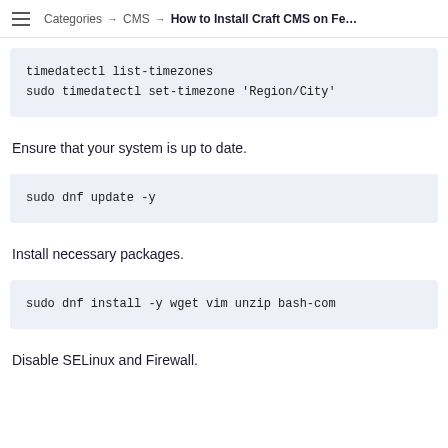Categories → CMS → How to Install Craft CMS on Fe…
timedatectl list-timezones
sudo timedatectl set-timezone 'Region/City'
Ensure that your system is up to date.
sudo dnf update -y
Install necessary packages.
sudo dnf install -y wget vim unzip bash-com
Disable SELinux and Firewall.